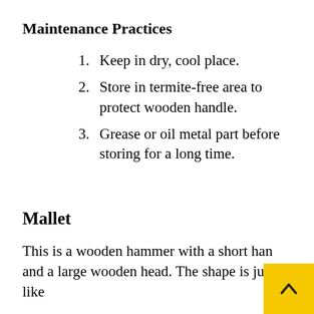Maintenance Practices
1. Keep in dry, cool place.
2. Store in termite-free area to protect wooden handle.
3. Grease or oil metal part before storing for a long time.
Mallet
This is a wooden hammer with a short han and a large wooden head. The shape is just like